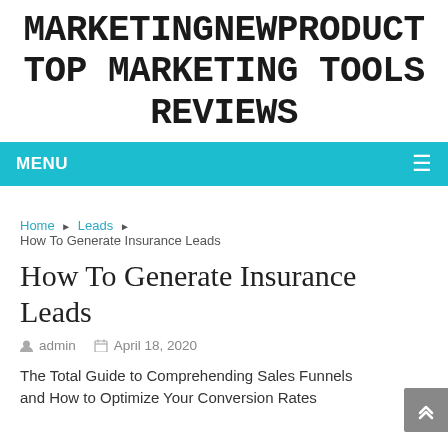MARKETINGNEWPRODUCT TOP MARKETING TOOLS REVIEWS
MENU
Home ▶ Leads ▶
How To Generate Insurance Leads
How To Generate Insurance Leads
admin   April 18, 2020
The Total Guide to Comprehending Sales Funnels and How to Optimize Your Conversion Rates